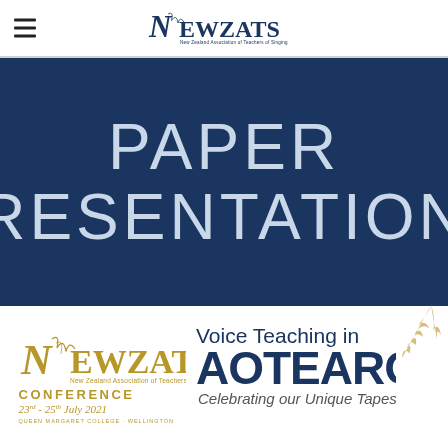NEWZATS
PAPER PRESENTATIONS
[Figure (logo): NEWZATS Conference logo with gold text: CONFERENCE, 23rd - 25th July 2021, QUEEN MARGARET COLLEGE - WELLINGTON]
[Figure (logo): Voice Teaching in AOTEAROA - Celebrating our Unique Tapestry, with decorative fern illustration]